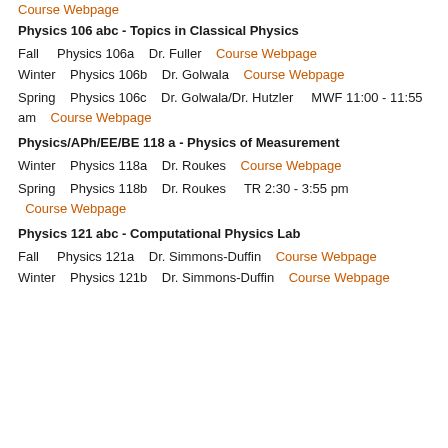Course Webpage
Physics 106 abc - Topics in Classical Physics
Fall    Physics 106a    Dr. Fuller    Course Webpage
Winter    Physics 106b    Dr. Golwala    Course Webpage
Spring    Physics 106c    Dr. Golwala/Dr. Hutzler    MWF 11:00 - 11:55 am    Course Webpage
Physics/APh/EE/BE 118 a - Physics of Measurement
Winter    Physics 118a    Dr. Roukes    Course Webpage
Spring    Physics 118b    Dr. Roukes    TR 2:30 - 3:55 pm    Course Webpage
Physics 121 abc - Computational Physics Lab
Fall    Physics 121a    Dr. Simmons-Duffin    Course Webpage
Winter    Physics 121b    Dr. Simmons-Duffin    Course Webpage